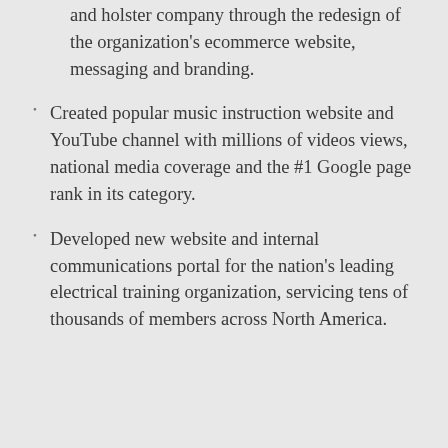and holster company through the redesign of the organization's ecommerce website, messaging and branding.
Created popular music instruction website and YouTube channel with millions of videos views, national media coverage and the #1 Google page rank in its category.
Developed new website and internal communications portal for the nation's leading electrical training organization, servicing tens of thousands of members across North America.